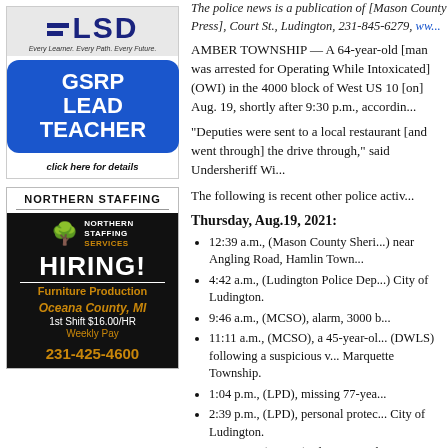[Figure (advertisement): LSD (Every Learner. Every Path. Every Future.) advertisement with blue rounded rectangle showing GSRP LEAD TEACHER in white bold text, and 'click here for details' below]
[Figure (advertisement): Northern Staffing Services advertisement with black background, tree logo, HIRING! text, Furniture Production, Oceana County MI, 1st Shift $16.00/HR, Weekly Pay, 231-425-4600]
The police news is a publication of [Mason County Press], Court St., Ludington, 231-845-6279, www...
AMBER TOWNSHIP — A 64-year-old [man was arrested for Operating While Intoxicated] (OWI) in the 4000 block of West US 10 [on] Aug. 19, shortly after 9:30 p.m., according...
“Deputies were sent to a local restaurant [where a man was spotted drinking and going through] the drive through,” said Undersheriff Wi...
The following is recent other police activ...
Thursday, Aug.19, 2021:
12:39 a.m., (Mason County Sheri...) near Angling Road, Hamlin Town...
4:42 a.m., (Ludington Police Dep...) City of Ludington.
9:46 a.m., (MCSO), alarm, 3000 [b...]
11:11 a.m., (MCSO), a 45-year-ol... (DWLS) following a suspicious v... Marquette Township.
1:04 p.m., (LPD), missing 77-yea...
2:39 p.m., (LPD), personal protec... City of Ludington.
3:58 p.m., (MCSO), alarm, 6000 [b...]
4:55 p.m., (LPD), vehicle crash...